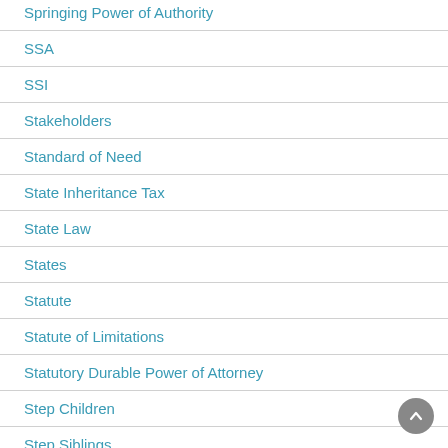Springing Power of Authority
SSA
SSI
Stakeholders
Standard of Need
State Inheritance Tax
State Law
States
Statute
Statute of Limitations
Statutory Durable Power of Attorney
Step Children
Step Siblings